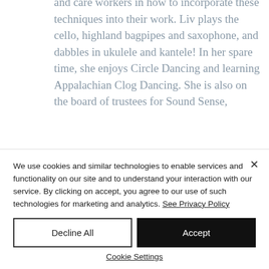and care workers in how to incorporate these techniques into their work. Liv plays the cello, highland bagpipes and saxophone, and dabbles in ukulele and kantele! In her spare time, she enjoys Circle Dancing and learning Appalachian Clog Dancing. She is also on the board of trustees for Sound Sense,
We use cookies and similar technologies to enable services and functionality on our site and to understand your interaction with our service. By clicking on accept, you agree to our use of such technologies for marketing and analytics. See Privacy Policy
Decline All
Accept
Cookie Settings